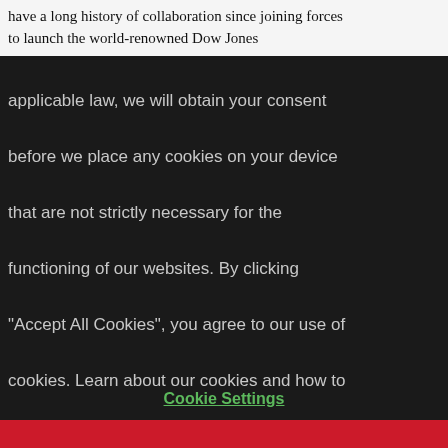have a long history of collaboration since joining forces to launch the world-renowned Dow Jones
applicable law, we will obtain your consent before we place any cookies on your device that are not strictly necessary for the functioning of our websites. By clicking "Accept All Cookies", you agree to our use of cookies. Learn about our cookies and how to modify your preferences in our Cookie Notice. Visit our updated Privacy Policy, Cookie Notice, and Terms of Use, effective 28 February 2022.
Cookie Settings